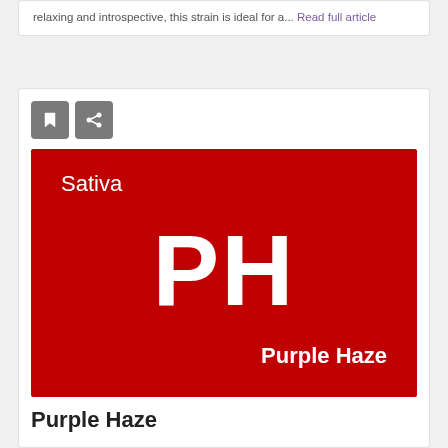relaxing and introspective, this strain is ideal for a... Read full article
[Figure (illustration): Red card with white text showing 'Sativa' in top left, large 'PH' initials in center, and 'Purple Haze' in bottom right]
Purple Haze